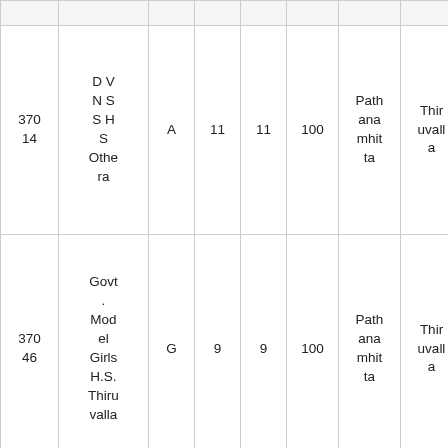| 37014 | D V N S S H S Othera | A | 11 | 11 | 100 | Pathanamthitta | Thiruvalla |
| 37046 | Govt. Model Girls H.S. Thiruvalla | G | 9 | 9 | 100 | Pathanamthitta | Thiruvalla |
|  | C M |  |  |  |  |  |  |